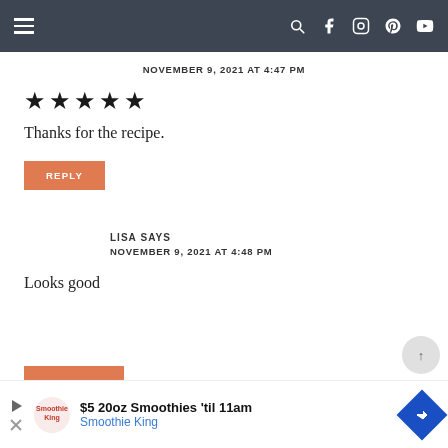Navigation bar with hamburger menu and social icons
NOVEMBER 9, 2021 AT 4:47 PM
★★★★★
Thanks for the recipe.
REPLY
LISA SAYS
NOVEMBER 9, 2021 AT 4:48 PM
Looks good
[Figure (screenshot): Advertisement banner: $5 20oz Smoothies 'til 11am - Smoothie King with blue diamond arrow icon]